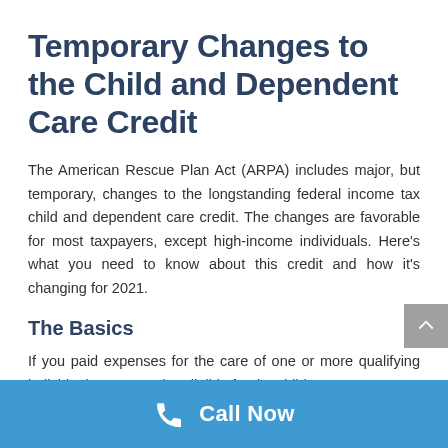Temporary Changes to the Child and Dependent Care Credit
The American Rescue Plan Act (ARPA) includes major, but temporary, changes to the longstanding federal income tax child and dependent care credit. The changes are favorable for most taxpayers, except high-income individuals. Here's what you need to know about this credit and how it's changing for 2021.
The Basics
If you paid expenses for the care of one or more qualifying individuals, you may be eligible for the child
Call Now